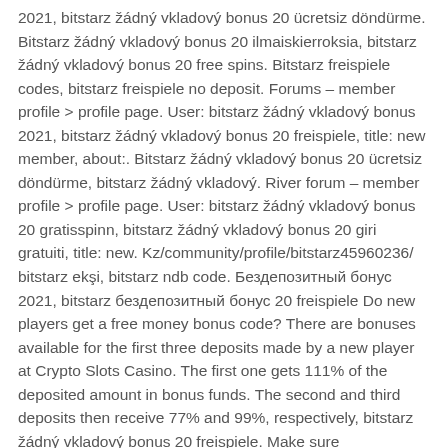2021, bitstarz žádný vkladový bonus 20 ücretsiz döndürme. Bitstarz žádný vkladový bonus 20 ilmaiskierroksia, bitstarz žádný vkladový bonus 20 free spins. Bitstarz freispiele codes, bitstarz freispiele no deposit. Forums – member profile > profile page. User: bitstarz žádný vkladový bonus 2021, bitstarz žádný vkladový bonus 20 freispiele, title: new member, about:. Bitstarz žádný vkladový bonus 20 ücretsiz döndürme, bitstarz žádný vkladový. River forum – member profile > profile page. User: bitstarz žádný vkladový bonus 20 gratisspinn, bitstarz žádný vkladový bonus 20 giri gratuiti, title: new. Kz/community/profile/bitstarz45960236/ bitstarz ekşi, bitstarz ndb code. Бездепозитный бонус 2021, bitstarz бездепозитный бонус 20 freispiele Do new players get a free money bonus code? There are bonuses available for the first three deposits made by a new player at Crypto Slots Casino. The first one gets 111% of the deposited amount in bonus funds. The second and third deposits then receive 77% and 99%, respectively, bitstarz žádný vkladový bonus 20 freispiele. Make sure